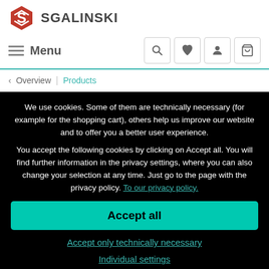SGALINSKI
Menu
Overview | Products
We use cookies. Some of them are technically necessary (for example for the shopping cart), others help us improve our website and to offer you a better user experience. You accept the following cookies by clicking on Accept all. You will find further information in the privacy settings, where you can also change your selection at any time. Just go to the page with the privacy policy. To our privacy policy.
Accept all
Accept only technically necessary
Individual settings